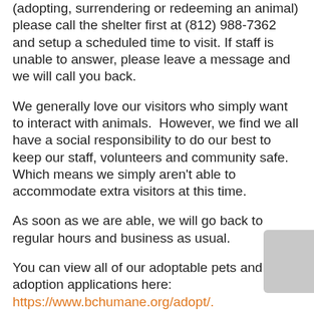(adopting, surrendering or redeeming an animal) please call the shelter first at (812) 988-7362 and setup a scheduled time to visit. If staff is unable to answer, please leave a message and we will call you back.
We generally love our visitors who simply want to interact with animals.  However, we find we all have a social responsibility to do our best to keep our staff, volunteers and community safe. Which means we simply aren't able to accommodate extra visitors at this time.
As soon as we are able, we will go back to regular hours and business as usual.
You can view all of our adoptable pets and adoption applications here: https://www.bchumane.org/adopt/.